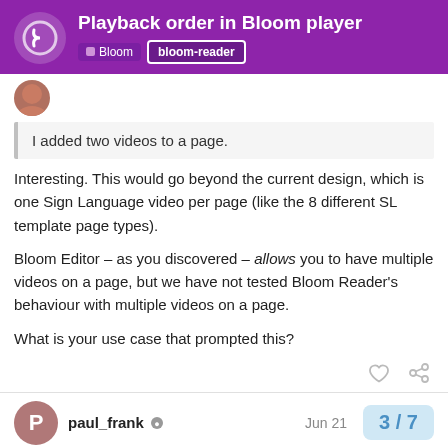Playback order in Bloom player | Bloom | bloom-reader
I added two videos to a page.
Interesting. This would go beyond the current design, which is one Sign Language video per page (like the 8 different SL template page types).
Bloom Editor – as you discovered – allows you to have multiple videos on a page, but we have not tested Bloom Reader's behaviour with multiple videos on a page.
What is your use case that prompted this?
paul_frank  Jun 21
3 / 7